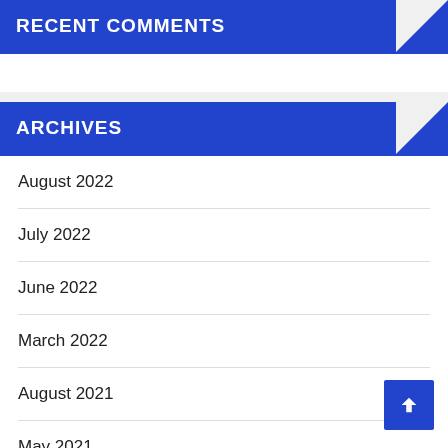RECENT COMMENTS
ARCHIVES
August 2022
July 2022
June 2022
March 2022
August 2021
May 2021